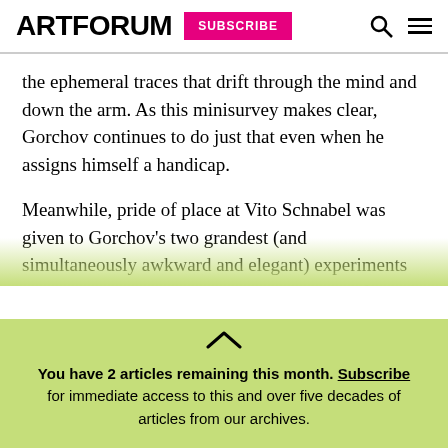ARTFORUM  SUBSCRIBE
the ephemeral traces that drift through the mind and down the arm. As this minisurvey makes clear, Gorchov continues to do just that even when he assigns himself a handicap.

Meanwhile, pride of place at Vito Schnabel was given to Gorchov's two grandest (and simultaneously awkward and elegant) experiments in neo-constructivism: multipaneled stacks of heraldic monochromes that were first installed in 1972 at the
You have 2 articles remaining this month. Subscribe for immediate access to this and over five decades of articles from our archives.